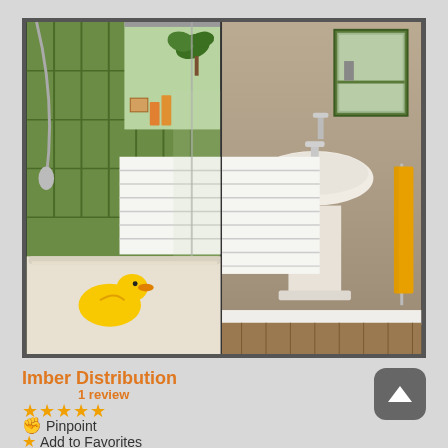[Figure (photo): Two-panel bathroom image. Left panel shows a bath/shower area with green tiles, a shower screen, and a yellow rubber duck in the bathtub. Right panel shows a pedestal sink/basin with a yellow towel on a rail, a wall-mounted green cabinet with mirror, and white slatted wall panels, wooden floor.]
Imber Distribution
1 review
Pinpoint
Add to Favorites
Imber Distribution Ltd Unit 9 109 Urquhart Road
Imber Distribution Ltd. is the new name for Kitchens